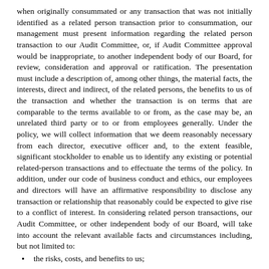when originally consummated or any transaction that was not initially identified as a related person transaction prior to consummation, our management must present information regarding the related person transaction to our Audit Committee, or, if Audit Committee approval would be inappropriate, to another independent body of our Board, for review, consideration and approval or ratification. The presentation must include a description of, among other things, the material facts, the interests, direct and indirect, of the related persons, the benefits to us of the transaction and whether the transaction is on terms that are comparable to the terms available to or from, as the case may be, an unrelated third party or to or from employees generally. Under the policy, we will collect information that we deem reasonably necessary from each director, executive officer and, to the extent feasible, significant stockholder to enable us to identify any existing or potential related-person transactions and to effectuate the terms of the policy. In addition, under our code of business conduct and ethics, our employees and directors will have an affirmative responsibility to disclose any transaction or relationship that reasonably could be expected to give rise to a conflict of interest. In considering related person transactions, our Audit Committee, or other independent body of our Board, will take into account the relevant available facts and circumstances including, but not limited to:
the risks, costs, and benefits to us;
the impact on a director's independence in the event that the related person is a director, immediate family member of a director or an entity with which a director is affiliated;
the availability of other sources for comparable services or products; and
the terms available to or from, as the case may be, unrelated third